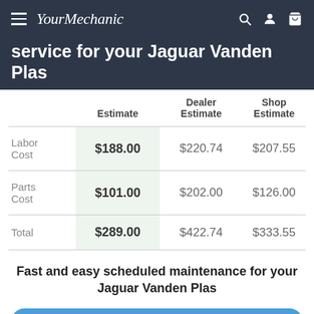YourMechanic
service for your Jaguar Vanden Plas
|  | Estimate | Dealer Estimate | Shop Estimate |
| --- | --- | --- | --- |
| Labor Cost | $188.00 | $220.74 | $207.55 |
| Parts Cost | $101.00 | $202.00 | $126.00 |
| Total | $289.00 | $422.74 | $333.55 |
Fast and easy scheduled maintenance for your Jaguar Vanden Plas